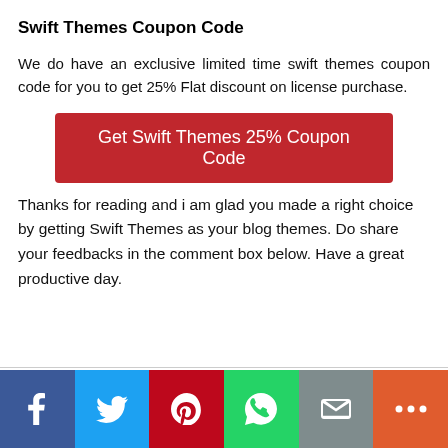Swift Themes Coupon Code
We do have an exclusive limited time swift themes coupon code for you to get 25% Flat discount on license purchase.
[Figure (other): Red button: Get Swift Themes 25% Coupon Code]
Thanks for reading and i am glad you made a right choice by getting Swift Themes as your blog themes. Do share your feedbacks in the comment box below. Have a great productive day.
[Figure (infographic): Social sharing bar with icons: Facebook (blue), Twitter (light blue), Pinterest (red), WhatsApp (green), Email (grey), More (orange-red)]